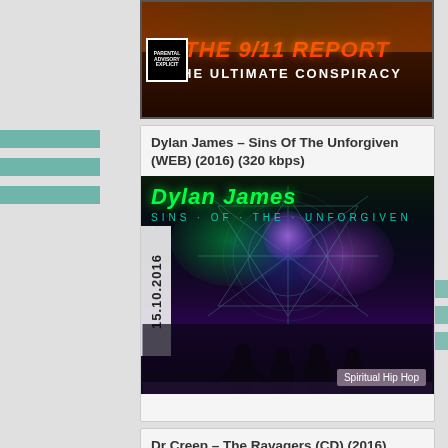[Figure (other): Banner for 'The 9/11 Report – The Ultimate Conspiracy' with fire/flame background, parental advisory label, red flame-styled title text and white subtitle text]
Dylan James – Sins Of The Unforgiven (WEB) (2016) (320 kbps)
[Figure (photo): Album cover for Dylan James – Sins Of The Unforgiven. Dark cosmic/space background with green and purple glowing orbs, geometric star pattern, silhouetted figures at bottom. Date stamp '15.10.2016' on left side. Genre tag 'Spiritual Hip Hop' bottom right.]
Dr Creep – The Ravagers (CD) (2016) (FLAC + 320 kbps)